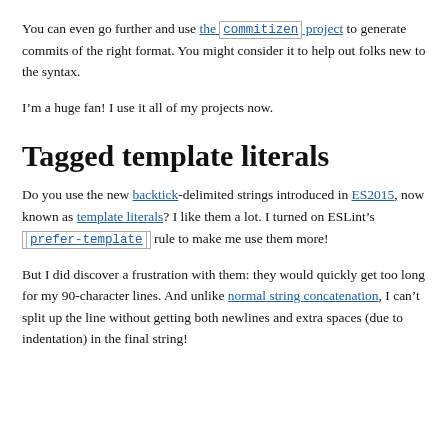the changelog. I prefer this approach.
You can even go further and use the commitizen project to generate commits of the right format. You might consider it to help out folks new to the syntax.
I’m a huge fan! I use it all of my projects now.
Tagged template literals
Do you use the new backtick-delimited strings introduced in ES2015, now known as template literals? I like them a lot. I turned on ESLint’s prefer-template rule to make me use them more!
But I did discover a frustration with them: they would quickly get too long for my 90-character lines. And unlike normal string concatenation, I can’t split up the line without getting both newlines and extra spaces (due to indentation) in the final string!